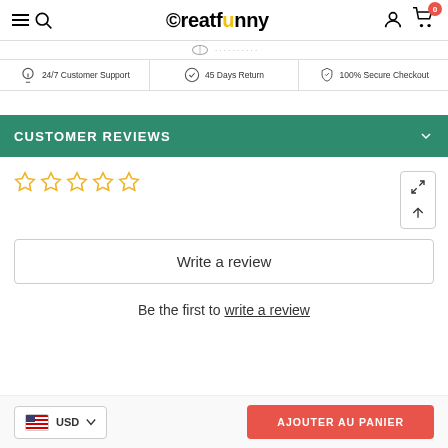Creatfunny
24/7 Customer Support | 45 Days Return | 100% Secure Checkout
CUSTOMER REVIEWS
[Figure (other): Five empty star rating icons (0 out of 5 stars) in yellow outline style, with expand/scroll icons on the right side]
Write a review
Be the first to write a review
USD | AJOUTER AU PANIER